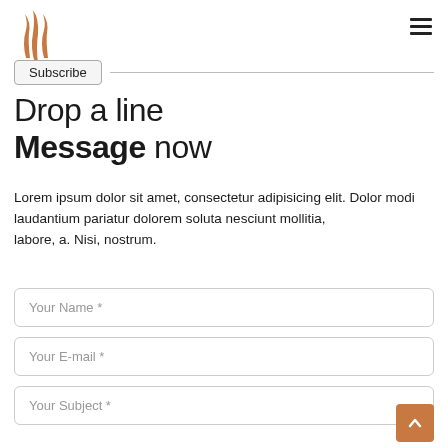[Figure (logo): Stylized golden flame/feather logo icon]
[Figure (other): Hamburger menu icon (three horizontal lines)]
Subscribe
Drop a line
Message now
Lorem ipsum dolor sit amet, consectetur adipisicing elit. Dolor modi
laudantium pariatur dolorem soluta nesciunt mollitia,
labore, a. Nisi, nostrum.
Your Name *
Your E-mail *
Your Subject *